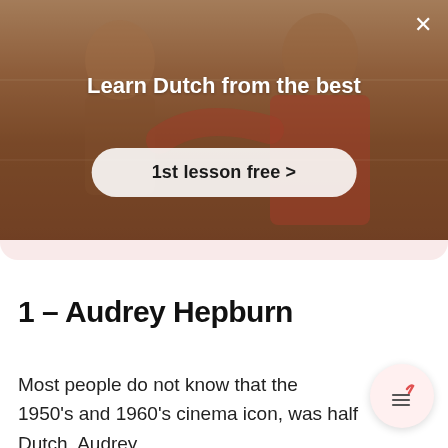[Figure (screenshot): Advertisement banner with a photo background of a person in a room, overlaid with text 'Learn Dutch from the best' and a call-to-action button '1st lesson free >']
Learn Dutch from the best
1st lesson free >
1 – Audrey Hepburn
Most people do not know that the 1950's and 1960's cinema icon, was half Dutch. Audrey